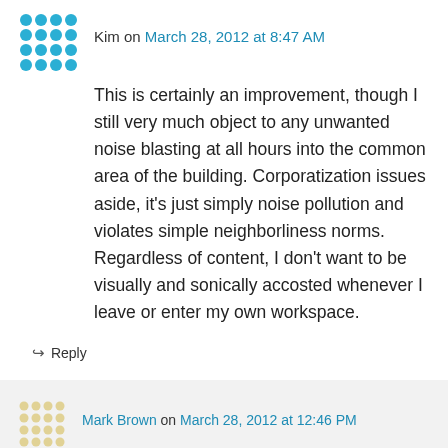Kim on March 28, 2012 at 8:47 AM
This is certainly an improvement, though I still very much object to any unwanted noise blasting at all hours into the common area of the building. Corporatization issues aside, it's just simply noise pollution and violates simple neighborliness norms. Regardless of content, I don't want to be visually and sonically accosted whenever I leave or enter my own workspace.
↳ Reply
Mark Brown on March 28, 2012 at 12:46 PM
I agree, and as a matter of fact, the campus digital sign policy explicitly states that